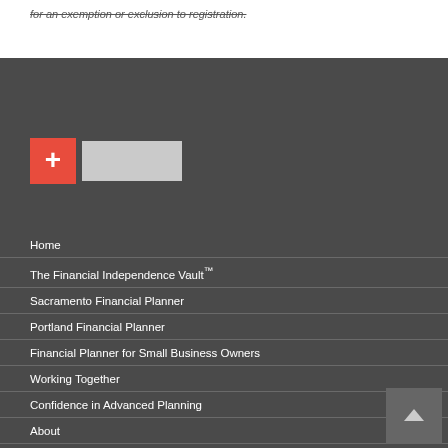for an exemption or exclusion to registration.
[Figure (logo): Red plus-sign box logo with white rectangular placeholder next to it on dark background]
Home
The Financial Independence Vault™
Sacramento Financial Planner
Portland Financial Planner
Financial Planner for Small Business Owners
Working Together
Confidence in Advanced Planning
About
Contact